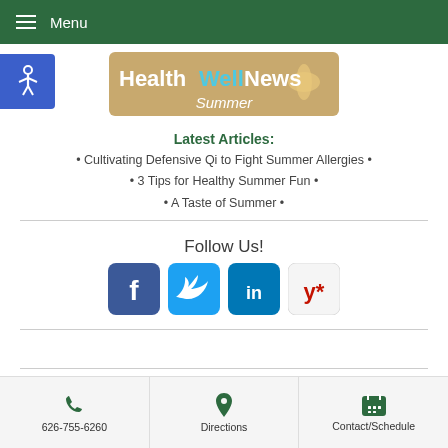Menu
[Figure (illustration): HealthWellNews Summer banner with beach/starfish background]
Latest Articles:
Cultivating Defensive Qi to Fight Summer Allergies
3 Tips for Healthy Summer Fun
A Taste of Summer
Follow Us!
[Figure (infographic): Social media icons: Facebook, Twitter, LinkedIn, Yelp]
626-755-6260 | Directions | Contact/Schedule